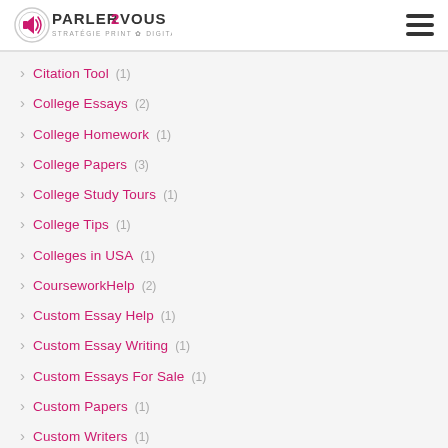PARLER2VOUS — STRATÉGIE PRINT & DIGITALE
Citation Tool (1)
College Essays (2)
College Homework (1)
College Papers (3)
College Study Tours (1)
College Tips (1)
Colleges in USA (1)
CourseworkHelp (2)
Custom Essay Help (1)
Custom Essay Writing (1)
Custom Essays For Sale (1)
Custom Papers (1)
Custom Writers (1)
Custom Writing Help (1)
CustomEssay2018 (1)
Dating For Singles (1)
Dating Sites Reviews (1)
demo posts (3)
Dog Repellers (2)
Edu (15)